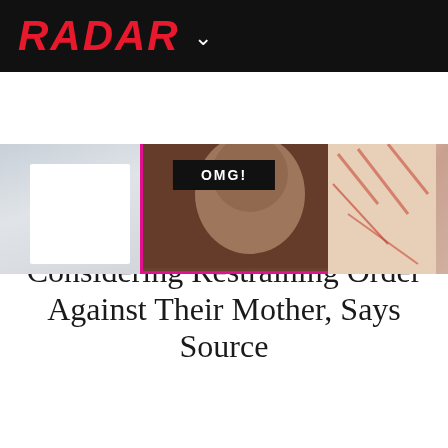RADAR
[Figure (photo): Top image strip showing three panels: left panel with white clothing/figure, center panel with a person's face with pink border, right panel with floral/leaf pattern]
OMG!
Demi Moore's Daughters 'Considering Restraining Order' Against Their Mother, Says Source
[Figure (photo): Bottom image strip: left large photo of Demi Moore looking at camera with long dark hair, right smaller photo with pink border showing legs of people walking outdoors]